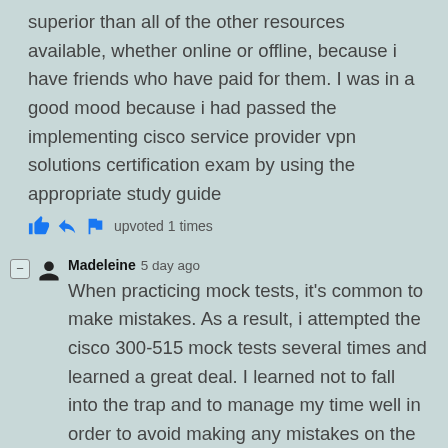superior than all of the other resources available, whether online or offline, because i have friends who have paid for them. I was in a good mood because i had passed the implementing cisco service provider vpn solutions certification exam by using the appropriate study guide
upvoted 1 times
Madeleine 5 day ago
When practicing mock tests, it's common to make mistakes. As a result, i attempted the cisco 300-515 mock tests several times and learned a great deal. I learned not to fall into the trap and to manage my time well in order to avoid making any mistakes on the implementing cisco service provider vpn solutions